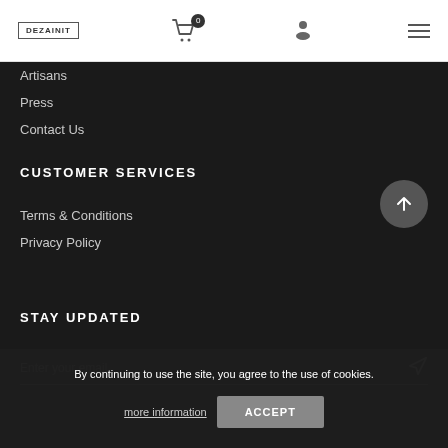DEZAINIT | Cart (0) | User | Menu
Artisans
Press
Contact Us
CUSTOMER SERVICES
Terms & Conditions
Privacy Policy
STAY UPDATED
Enter your email
By continuing to use the site, you agree to the use of cookies. more information  ACCEPT